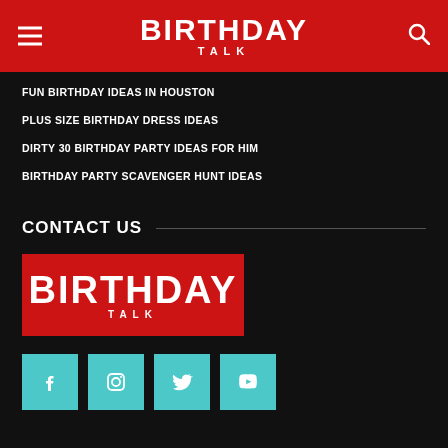BIRTHDAY TALK
FUN BIRTHDAY IDEAS IN HOUSTON
PLUS SIZE BIRTHDAY DRESS IDEAS
DIRTY 30 BIRTHDAY PARTY IDEAS FOR HIM
BIRTHDAY PARTY SCAVENGER HUNT IDEAS
CONTACT US
[Figure (logo): Birthday Talk logo on red background]
[Figure (infographic): Social media icons: Facebook, Instagram, Twitter, YouTube on teal/cyan square backgrounds]